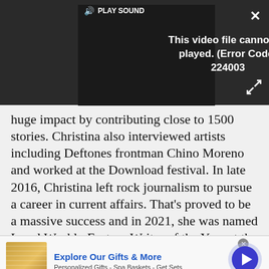[Figure (screenshot): Video player showing error message. Controls bar with speaker icon and PLAY SOUND text. Error message: This video file cannot be played. (Error Code: 224003). Close button (X) top right. Expand arrows bottom right.]
huge impact by contributing close to 1500 stories. Christina also interviewed artists including Deftones frontman Chino Moreno and worked at the Download festival. In late 2016, Christina left rock journalism to pursue a career in current affairs. That's proved to be a massive success and in 2021, she was named Local Weekly Feature Writer of the Year at the Scottish Press Awards.
[Figure (screenshot): Advertisement banner for 1800flowers.com. Shows gift products image on left. Text: Explore Our Gifts & More. Personalized Gifts - Spa Baskets - Get Sets. www.1800flowers.com. Blue arrow circle button on right.]